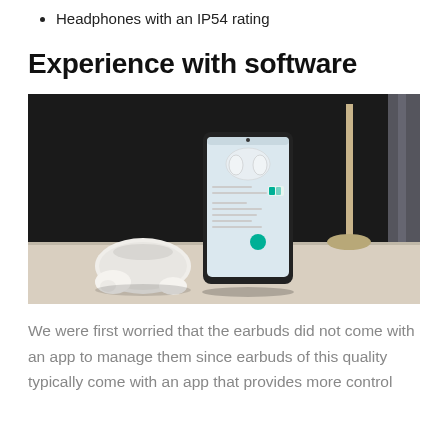Headphones with an IP54 rating
Experience with software
[Figure (photo): A smartphone displaying earbuds management app, standing upright on a light wooden surface next to a white wireless earbuds charging case and earbuds, with a lamp and dark background.]
We were first worried that the earbuds did not come with an app to manage them since earbuds of this quality typically come with an app that provides more control